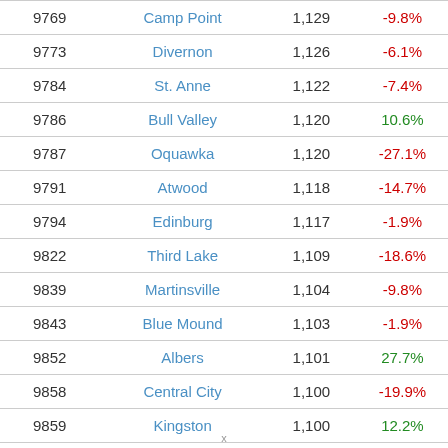|  | Name | Population | Change |
| --- | --- | --- | --- |
| 9769 | Camp Point | 1,129 | -9.8% |
| 9773 | Divernon | 1,126 | -6.1% |
| 9784 | St. Anne | 1,122 | -7.4% |
| 9786 | Bull Valley | 1,120 | 10.6% |
| 9787 | Oquawka | 1,120 | -27.1% |
| 9791 | Atwood | 1,118 | -14.7% |
| 9794 | Edinburg | 1,117 | -1.9% |
| 9822 | Third Lake | 1,109 | -18.6% |
| 9839 | Martinsville | 1,104 | -9.8% |
| 9843 | Blue Mound | 1,103 | -1.9% |
| 9852 | Albers | 1,101 | 27.7% |
| 9858 | Central City | 1,100 | -19.9% |
| 9859 | Kingston | 1,100 | 12.2% |
x